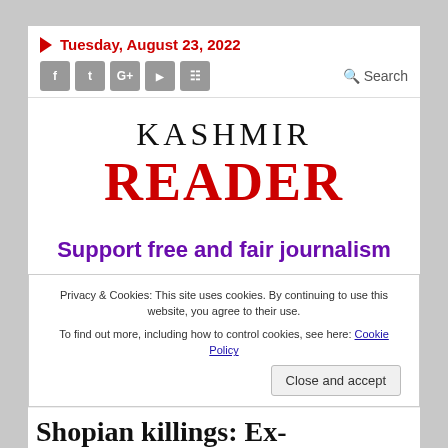Tuesday, August 23, 2022
KASHMIR READER
Support free and fair journalism
Privacy & Cookies: This site uses cookies. By continuing to use this website, you agree to their use. To find out more, including how to control cookies, see here: Cookie Policy
Close and accept
Shopian killings: Ex-servicemen